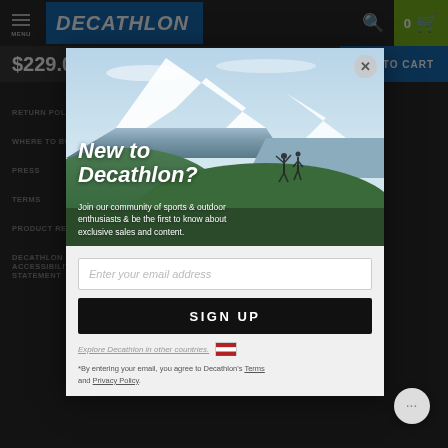[Figure (screenshot): Decathlon website header with logo, search icon, and cart button showing $229.00 price and ADD TO CART button]
[Figure (photo): Modal popup on Decathlon website with mountain landscape background showing two hikers silhouetted against peaks]
New to Decathlon?
Join our community of sports & outdoor enthusiasts & be the first to know about exclusive sales and content.
Enter your email address
SIGN UP
Explore Decathlon in other countries.
*By entering your email, you agree to Decathlon's Terms and Privacy Policy.